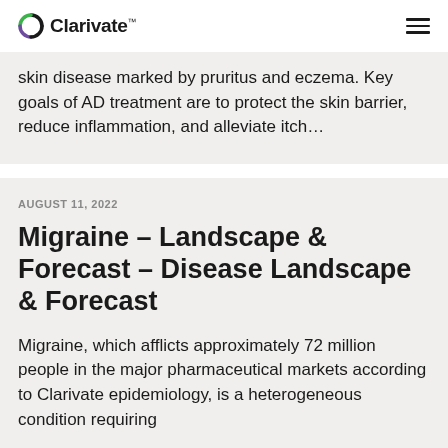Clarivate
skin disease marked by pruritus and eczema. Key goals of AD treatment are to protect the skin barrier, reduce inflammation, and alleviate itch…
AUGUST 11, 2022
Migraine – Landscape & Forecast – Disease Landscape & Forecast
Migraine, which afflicts approximately 72 million people in the major pharmaceutical markets according to Clarivate epidemiology, is a heterogeneous condition requiring